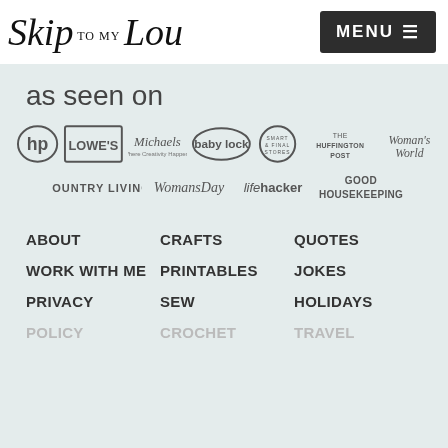Skip to my Lou | MENU
as seen on
[Figure (logo): Logos row 1: HP, Lowe's, Michaels, baby lock, Smart & Final, The Huffington Post, Woman's World]
[Figure (logo): Logos row 2: Country Living, Woman's Day, Lifehacker, Good Housekeeping]
ABOUT
CRAFTS
QUOTES
WORK WITH ME
PRINTABLES
JOKES
PRIVACY
SEW
HOLIDAYS
POLICY
CROCHET
TRAVEL